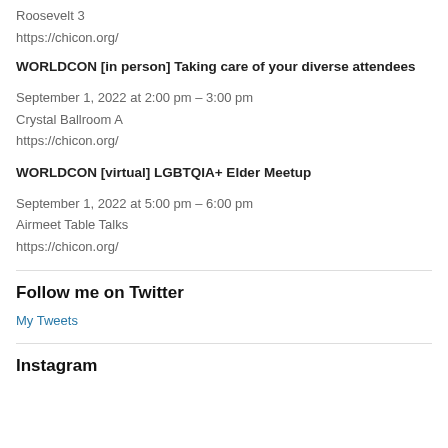Roosevelt 3
https://chicon.org/
WORLDCON [in person] Taking care of your diverse attendees
September 1, 2022 at 2:00 pm – 3:00 pm
Crystal Ballroom A
https://chicon.org/
WORLDCON [virtual] LGBTQIA+ Elder Meetup
September 1, 2022 at 5:00 pm – 6:00 pm
Airmeet Table Talks
https://chicon.org/
Follow me on Twitter
My Tweets
Instagram